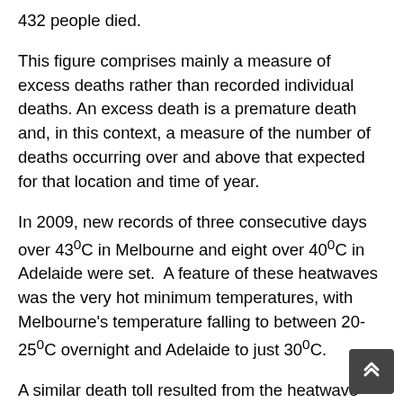432 people died.
This figure comprises mainly a measure of excess deaths rather than recorded individual deaths. An excess death is a premature death and, in this context, a measure of the number of deaths occurring over and above that expected for that location and time of year.
In 2009, new records of three consecutive days over 43°C in Melbourne and eight over 40°C in Adelaide were set. A feature of these heatwaves was the very hot minimum temperatures, with Melbourne's temperature falling to between 20-25°C overnight and Adelaide to just 30°C.
A similar death toll resulted from the heatwave that occurred from October 1895 to January 1896 that impacted nearly the entire continent but especially the interior. PerilAUS records 435 deaths, 89% of them